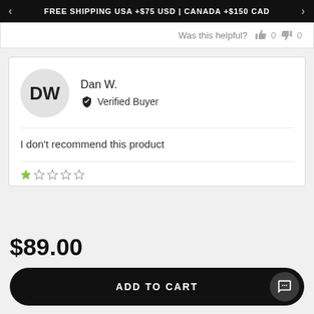FREE SHIPPING USA +$75 USD | CANADA +$150 CAD
Was this helpful? 0 0
DW
Dan W.
Verified Buyer
I don't recommend this product
$89.00
ADD TO CART